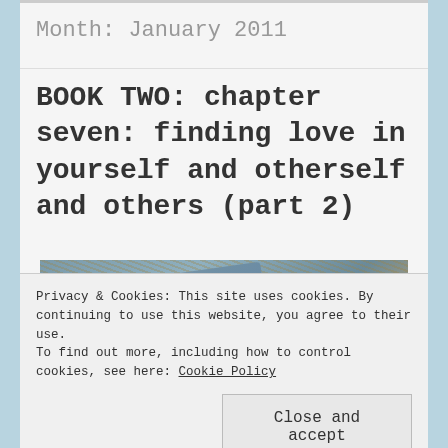Month: January 2011
BOOK TWO: chapter seven: finding love in yourself and otherself and others (part 2)
[Figure (photo): A stone or slate tile with the letters 'YOU' carved into it, resting on dry straw or grass.]
Privacy & Cookies: This site uses cookies. By continuing to use this website, you agree to their use. To find out more, including how to control cookies, see here: Cookie Policy
Close and accept